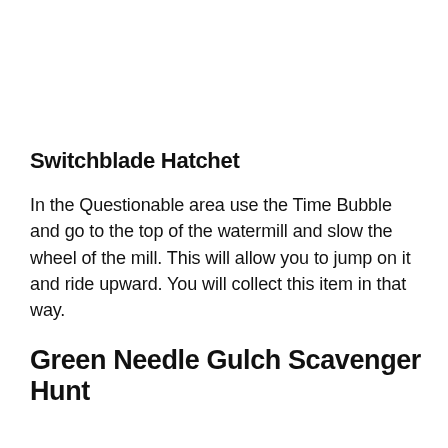Switchblade Hatchet
In the Questionable area use the Time Bubble and go to the top of the watermill and slow the wheel of the mill. This will allow you to jump on it and ride upward. You will collect this item in that way.
Green Needle Gulch Scavenger Hunt